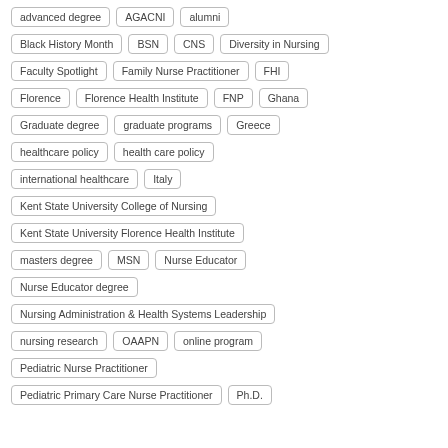advanced degree
AGACNI
alumni
Black History Month
BSN
CNS
Diversity in Nursing
Faculty Spotlight
Family Nurse Practitioner
FHI
Florence
Florence Health Institute
FNP
Ghana
Graduate degree
graduate programs
Greece
healthcare policy
health care policy
international healthcare
Italy
Kent State University College of Nursing
Kent State University Florence Health Institute
masters degree
MSN
Nurse Educator
Nurse Educator degree
Nursing Administration & Health Systems Leadership
nursing research
OAAPN
online program
Pediatric Nurse Practitioner
Pediatric Primary Care Nurse Practitioner
Ph.D.